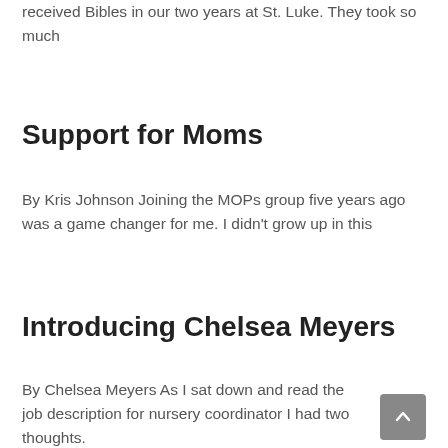received Bibles in our two years at St. Luke. They took so much
Support for Moms
By Kris Johnson Joining the MOPs group five years ago was a game changer for me. I didn't grow up in this
Introducing Chelsea Meyers
By Chelsea Meyers As I sat down and read the job description for nursery coordinator I had two thoughts.